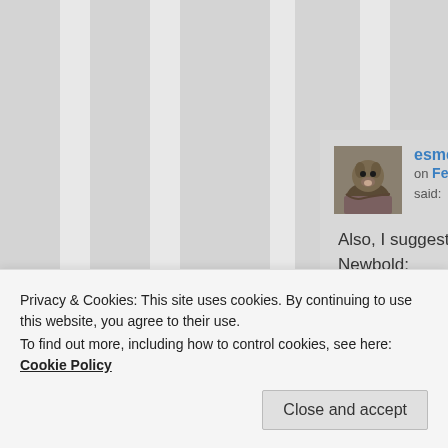[Figure (screenshot): A blog comment section showing a user named 'esmeelafleur' posting on February 28, 2019 at 5:19 PM, with a dog avatar photo. The comment reads: 'Also, I suggest reading this book by Dr. Newbold:' followed by a link starting with 'https://zerocarbzen.']
esmeelafleur on February 28, 2019 at 5:19 PM said: Also, I suggest reading this book by Dr. Newbold: https://zerocarbzen.
Privacy & Cookies: This site uses cookies. By continuing to use this website, you agree to their use.
To find out more, including how to control cookies, see here: Cookie Policy